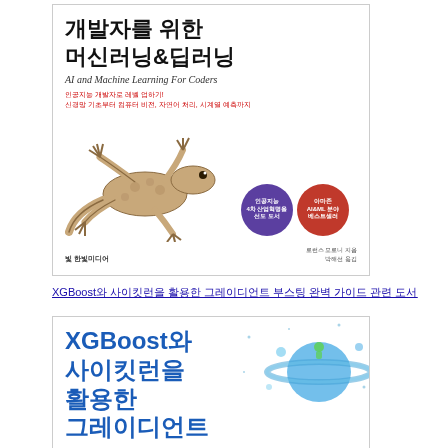[Figure (photo): Book cover: '개발자를 위한 머신러닝&딥러닝' (AI and Machine Learning For Coders) with gecko/lizard illustration, purple and red circular badges, publisher 한빛미디어 logo]
XGBoost와 사이킷런을 활용한 그레이디언트 부스팅 완벽 가이드 관련 도서를 찾습니다
[Figure (photo): Book cover: 'XGBoost와 사이킷런을 활용한 그레이디언트' with blue planet/space illustration]